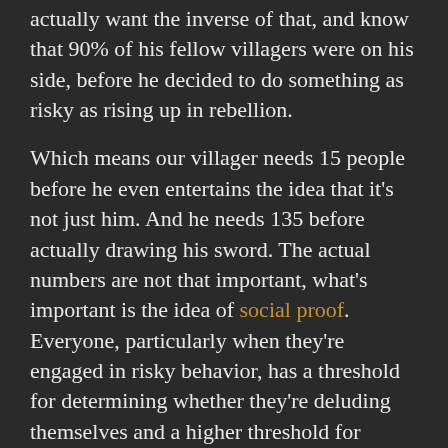actually want the inverse of that, and know that 90% of his fellow villagers were on his side, before he decided to do something as risky as rising up in rebellion.
Which means our villager needs 15 people before he even entertains the idea that it's not just him. And he needs 135 before actually drawing his sword. The actual numbers are not that important, what's important is the idea of social proof. Everyone, particularly when they're engaged in risky behavior, has a threshold for determining whether they're deluding themselves and a higher threshold for determining whether they should act. And for 99.9% of human history these thresholds were determined by the opinions of the small circle of people in our immediate vicinity. And 135 people might constitute 90% of everyone you come in contact with. But humans don't do percentages, so none of us are thinking, what does 90% of everyone believe, they're